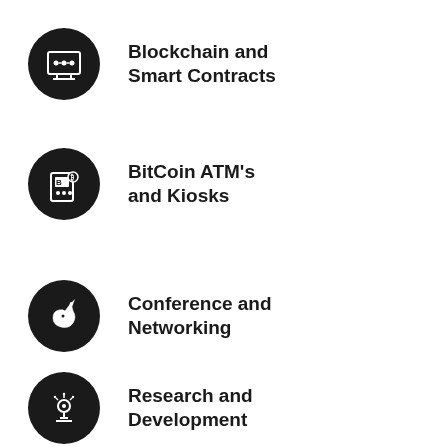Blockchain and Smart Contracts
BitCoin ATM's and Kiosks
Conference and Networking
Research and Development